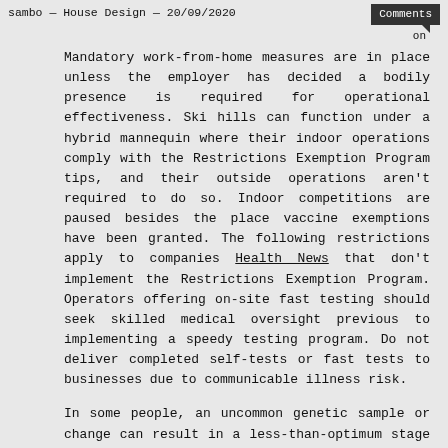sambo — House Design — 20/09/2020
Mandatory work-from-home measures are in place unless the employer has decided a bodily presence is required for operational effectiveness. Ski hills can function under a hybrid mannequin where their indoor operations comply with the Restrictions Exemption Program tips, and their outside operations aren't required to do so. Indoor competitions are paused besides the place vaccine exemptions have been granted. The following restrictions apply to companies Health News that don't implement the Restrictions Exemption Program. Operators offering on-site fast testing should seek skilled medical oversight previous to implementing a speedy testing program. Do not deliver completed self-tests or fast tests to businesses due to communicable illness risk.
In some people, an uncommon genetic sample or change can result in a less-than-optimum stage of health. People might inherit genes from their parents that increase their risk for certain medical conditions. With enhancements in testing, nevertheless, doctors are actually able to identify some ...